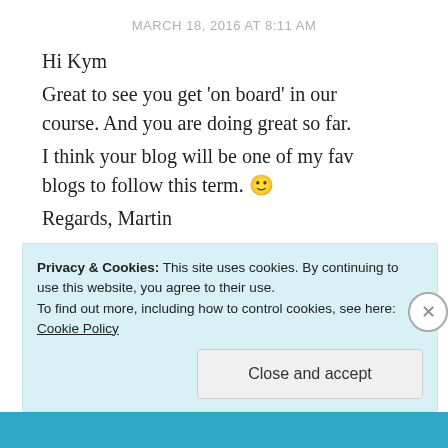MARCH 18, 2016 AT 8:11 AM
Hi Kym
Great to see you get 'on board' in our course. And you are doing great so far. I think your blog will be one of my fav blogs to follow this term. 🙂
Regards, Martin
★ Like
REPLY
Privacy & Cookies: This site uses cookies. By continuing to use this website, you agree to their use.
To find out more, including how to control cookies, see here: Cookie Policy
Close and accept